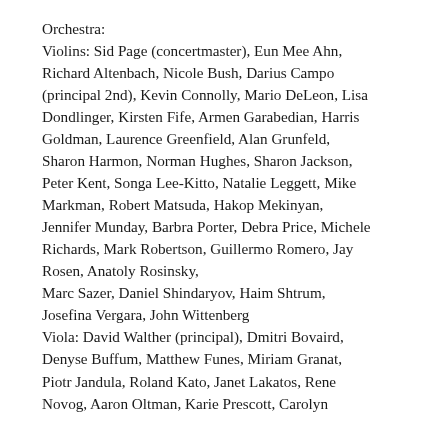Orchestra: Violins: Sid Page (concertmaster), Eun Mee Ahn, Richard Altenbach, Nicole Bush, Darius Campo (principal 2nd), Kevin Connolly, Mario DeLeon, Lisa Dondlinger, Kirsten Fife, Armen Garabedian, Harris Goldman, Laurence Greenfield, Alan Grunfeld, Sharon Harmon, Norman Hughes, Sharon Jackson, Peter Kent, Songa Lee-Kitto, Natalie Leggett, Mike Markman, Robert Matsuda, Hakop Mekinyan, Jennifer Munday, Barbra Porter, Debra Price, Michele Richards, Mark Robertson, Guillermo Romero, Jay Rosen, Anatoly Rosinsky, Marc Sazer, Daniel Shindaryov, Haim Shtrum, Josefina Vergara, John Wittenberg Viola: David Walther (principal), Dmitri Bovaird, Denyse Buffum, Matthew Funes, Miriam Granat, Piotr Jandula, Roland Kato, Janet Lakatos, Rene Novog, Aaron Oltman, Karie Prescott, Carolyn